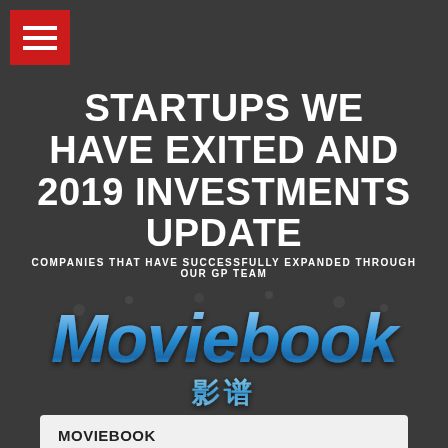[Figure (logo): Red hamburger menu button in top-left corner]
STARTUPS WE HAVE EXITED AND 2019 INVESTMENTS UPDATE
COMPANIES THAT HAVE SUCCESSFULLY EXPANDED THROUGH OUR GP TEAM
[Figure (logo): Moviebook logo with blue chrome-style text and Chinese characters 影谱 below]
MOVIEBOOK
300X RETURNS